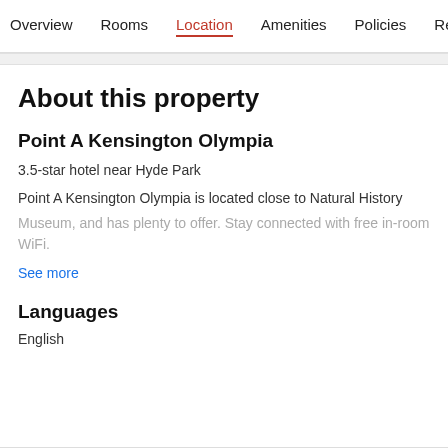Overview  Rooms  Location  Amenities  Policies  Reviews
About this property
Point A Kensington Olympia
3.5-star hotel near Hyde Park
Point A Kensington Olympia is located close to Natural History Museum, and has plenty to offer. Stay connected with free in-room WiFi.
See more
Languages
English